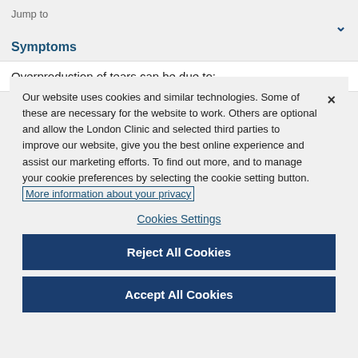Jump to
Symptoms
Overproduction of tears can be due to:
Our website uses cookies and similar technologies. Some of these are necessary for the website to work. Others are optional and allow the London Clinic and selected third parties to improve our website, give you the best online experience and assist our marketing efforts. To find out more, and to manage your cookie preferences by selecting the cookie setting button. More information about your privacy
Cookies Settings
Reject All Cookies
Accept All Cookies